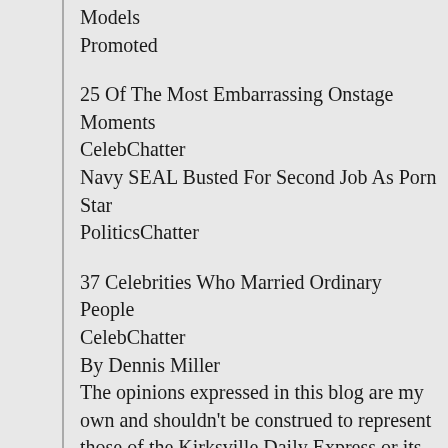Models
Promoted
25 Of The Most Embarrassing Onstage Moments
CelebChatter
Navy SEAL Busted For Second Job As Porn Star
PoliticsChatter
37 Celebrities Who Married Ordinary People
CelebChatter
By Dennis Miller
The opinions expressed in this blog are my own and shouldn't be construed to represent those of the Kirksville Daily Express or its employees.
The Kirksville High School Tigers football team has their first home game of the year tonight as they take on Chillicothe out at Spainhower Field. The Tigers are looking for their first victory of